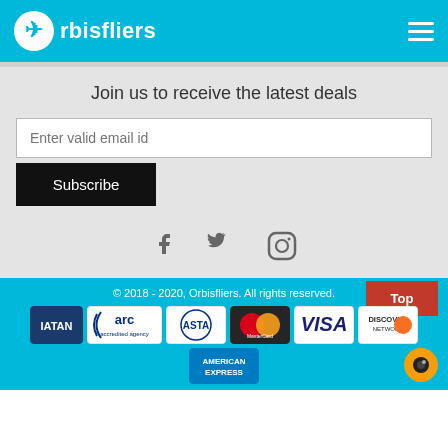Orbisfliers
Join us to receive the latest deals
Enter valid email id
Subscribe
[Figure (illustration): Social media icons: Facebook, Twitter, Instagram]
© 2018 - 2020, Orbisfliers. All rights reserved.
[Figure (illustration): Payment and accreditation badges: IATAN, arc accredited agency, ASTA, MasterCard, VISA, Discover Network, American Express]